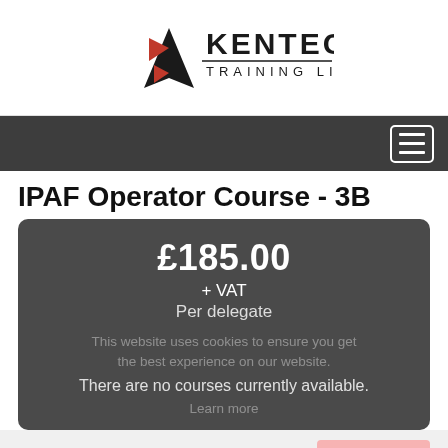[Figure (logo): Kentec Training Limited logo with red and black chevron/triangle design]
IPAF Operator Course - 3B
£185.00
+ VAT
Per delegate
There are no courses currently available.
Find out the next available dates.
Contact us or call us on 0333 666 0555 to see when this course will